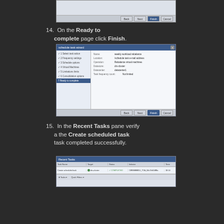[Figure (screenshot): Bottom portion of a Windows wizard dialog showing Back, Next, and Cancel buttons]
14. On the Ready to complete page click Finish.
[Figure (screenshot): Windows wizard dialog titled 'schedule task wizard' showing summary information: Name, Location, Operation, Datacenter, Datastore with a left navigation panel listing steps including 'Ready to complete' selected]
15. In the Recent Tasks pane verify a the Create scheduled task task completed successfully.
[Figure (screenshot): Recent Tasks pane showing a completed 'Create scheduled task' task with status COMPLETED]